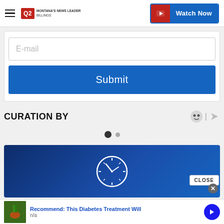Q2 MONTANA'S NEWS LEADER BILLINGS | Watch Now
E-mail
Submit
CURATION BY
[Figure (other): Blue banner with clock icon]
CLOSE
Recommend: This Diabetes Treatment Will
n/a